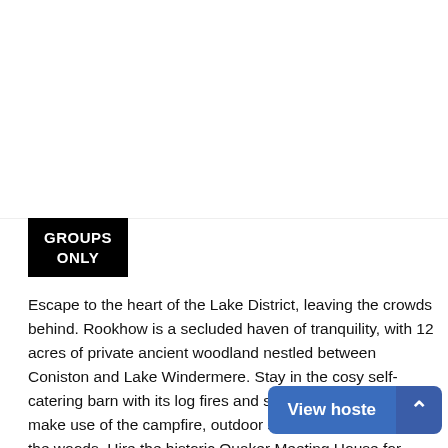[Figure (other): White/blank upper portion of the page — image area cropped or empty]
GROUPS ONLY
Escape to the heart of the Lake District, leaving the crowds behind. Rookhow is a secluded haven of tranquility, with 12 acres of private ancient woodland nestled between Coniston and Lake Windermere. Stay in the cosy self-catering barn with its log fires and snug sitting room and make use of the campfire, outdoor seating area and yurt in the woods. Hire the historic Quaker Meeting House for extra group space.
View hostel